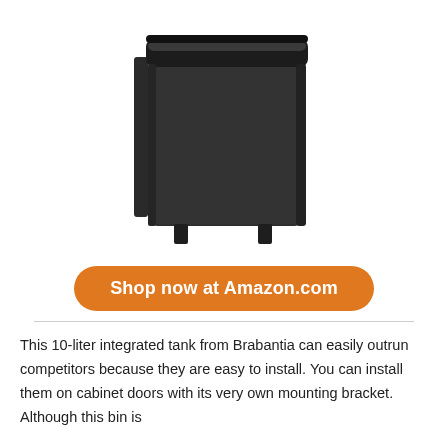[Figure (photo): A black Brabantia 10-liter integrated cabinet trash bin with lid and mounting bracket, shown against a white background.]
Shop now at Amazon.com
This 10-liter integrated tank from Brabantia can easily outrun competitors because they are easy to install. You can install them on cabinet doors with its very own mounting bracket. Although this bin is